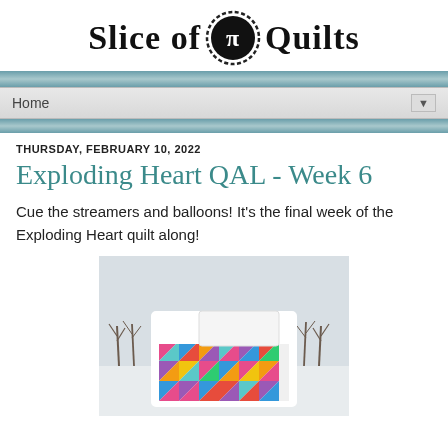Slice of Pi Quilts
Home
THURSDAY, FEBRUARY 10, 2022
Exploding Heart QAL - Week 6
Cue the streamers and balloons! It's the final week of the Exploding Heart quilt along!
[Figure (photo): A colorful exploding heart quilt displayed outdoors in a snowy winter setting with bare trees in the background.]